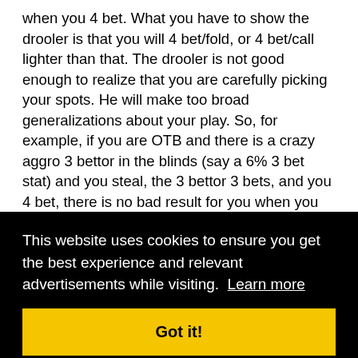when you 4 bet. What you have to show the drooler is that you will 4 bet/fold, or 4 bet/call lighter than that. The drooler is not good enough to realize that you are carefully picking your spots. He will make too broad generalizations about your play. So, for example, if you are OTB and there is a crazy aggro 3 bettor in the blinds (say a 6% 3 bet stat) and you steal, the 3 bettor 3 bets, and you 4 bet, there is no bad result for you when you think about how the drooler will view that hand. If you 4 bet fold, say, 77, the drooler will look at that hand and say, “lol, the button was making a stand and then chickened out.” Or something like that. So the next time he raises, and you 3 bet him, he will think, “lol, this is the guy that folds to 4 bets.” Or if you 5 bet ship
[Figure (screenshot): Cookie consent banner overlay with black background. Text reads: 'This website uses cookies to ensure you get the best experience and relevant advertisements while visiting. Learn more' with a yellow 'Got it!' button.]
keep your image uppermost in your mind